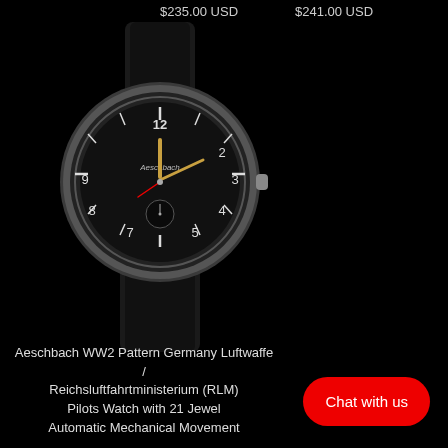$235.00 USD
$241.00 USD
[Figure (photo): A wristwatch with a black dial, silver case, black leather strap. The dial shows Arabic numerals and gold-colored hands. Brand name 'Aeschbach' visible on the dial. Small seconds subdial at 6 o'clock position.]
Aeschbach WW2 Pattern Germany Luftwaffe / Reichsluftfahrtministerium (RLM) Pilots Watch with 21 Jewel Automatic Mechanical Movement
Chat with us